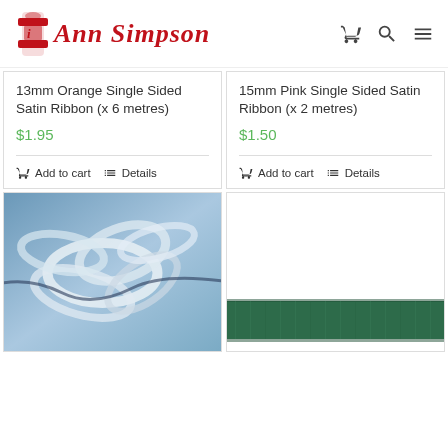Ann Simpson
13mm Orange Single Sided Satin Ribbon (x 6 metres)
$1.95
Add to cart  Details
15mm Pink Single Sided Satin Ribbon (x 2 metres)
$1.50
Add to cart  Details
[Figure (photo): White/clear satin ribbon coiled on blue background]
[Figure (photo): Dark green velvet or satin ribbon strip on white background]